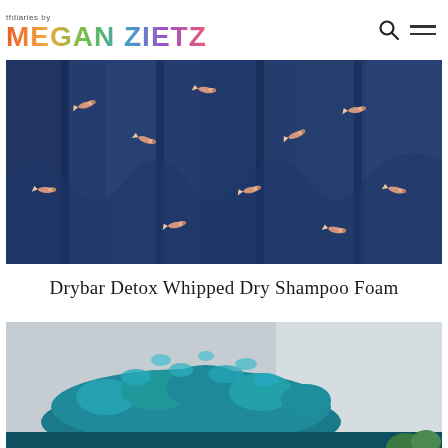tfdiaries by MEGAN ZIETZ
[Figure (photo): Close-up of navy blue fabric with hummingbird print, showing ruffled layers]
Drybar Detox Whipped Dry Shampoo Foam
[Figure (photo): Product image showing blue foam/shampoo being dispensed, teal colored foam on dark hair]